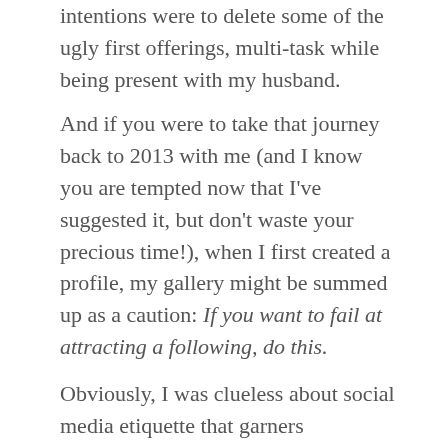intentions were to delete some of the ugly first offerings, multi-task while being present with my husband.
And if you were to take that journey back to 2013 with me (and I know you are tempted now that I've suggested it, but don't waste your precious time!), when I first created a profile, my gallery might be summed up as a caution: If you want to fail at attracting a following, do this.
Obviously, I was clueless about social media etiquette that garners engagement.